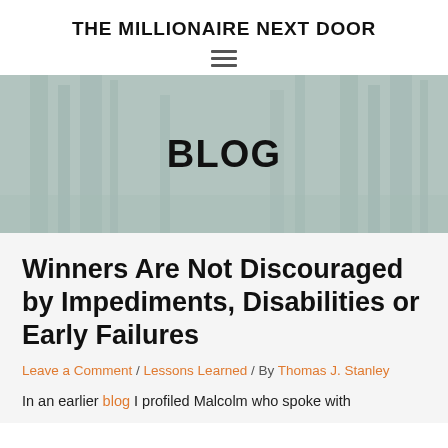THE MILLIONAIRE NEXT DOOR
[Figure (illustration): Hamburger menu icon (three horizontal lines)]
[Figure (photo): Hero banner with city street background (muted teal/grey overlay) and the word BLOG in large bold text centered on the image]
Winners Are Not Discouraged by Impediments, Disabilities or Early Failures
Leave a Comment / Lessons Learned / By Thomas J. Stanley
In an earlier blog I profiled Malcolm who spoke with